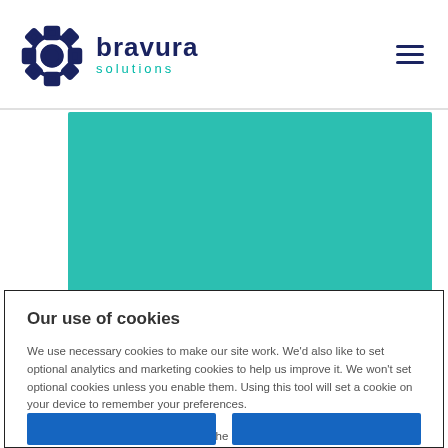bravura solutions
[Figure (illustration): Teal/turquoise banner image area]
ARTICLES
Our use of cookies
We use necessary cookies to make our site work. We'd also like to set optional analytics and marketing cookies to help us improve it. We won't set optional cookies unless you enable them. Using this tool will set a cookie on your device to remember your preferences.
For more detailed information about the cookies we use, see our Privacy and Cookie Policy